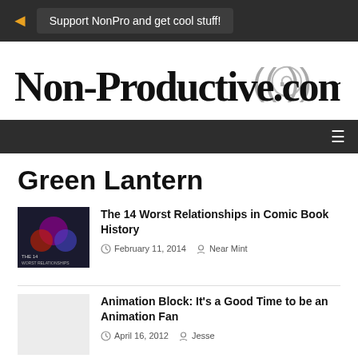Support NonPro and get cool stuff!
[Figure (logo): Non-Productive.com logo with radio signal icon]
Green Lantern
The 14 Worst Relationships in Comic Book History
February 11, 2014  Near Mint
Animation Block: It's a Good Time to be an Animation Fan
April 16, 2012  Jesse